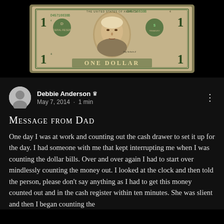[Figure (photo): A US one dollar bill (serial number D45716638B) photographed close-up, showing George Washington's portrait in the center, the green Federal Reserve seal, and 'ONE DOLLAR' text at the bottom. The bill is placed on what appears to be a white tray or surface.]
Debbie Anderson ♛
May 7, 2014 · 1 min
Message from Dad
One day I was at work and counting out the cash drawer to set it up for the day. I had someone with me that kept interrupting me when I was counting the dollar bills. Over and over again I had to start over mindlessly counting the money out. I looked at the clock and then told the person, please don't say anything as I had to get this money counted out and in the cash register within ten minutes. She was slient and then I began counting the